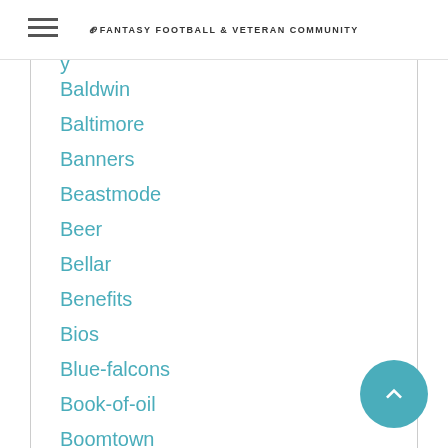Fantasy Football & Veteran Community
Baldwin
Baltimore
Banners
Beastmode
Beer
Bellar
Benefits
Bios
Blue-falcons
Book-of-oil
Boomtown
Brake
Braley
Brawlers
Bricktown
Brosh
Bruesch